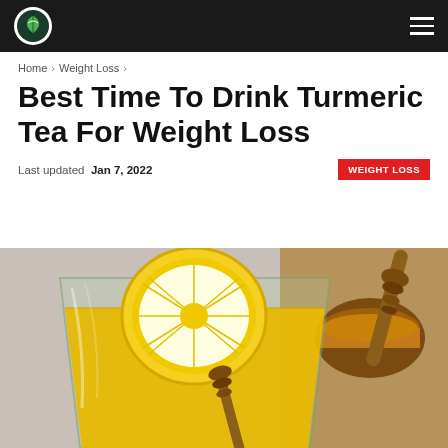Navigation bar with logo and hamburger menu
Home > Weight Loss >
Best Time To Drink Turmeric Tea For Weight Loss
Last updated Jan 7, 2022   WEIGHT LOSS
[Figure (photo): A glass cup of golden turmeric tea with a lemon slice on top, with a honey dipper and bowl of honey in the background]